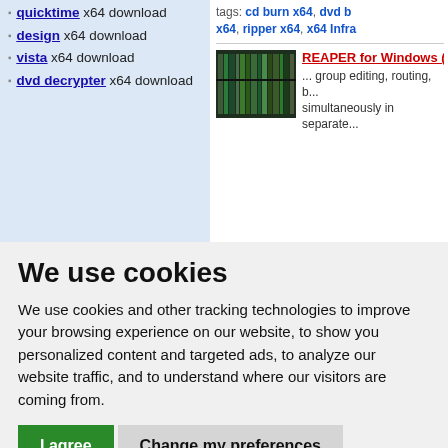quicktime x64 download
design x64 download
vista x64 download
dvd decrypter x64 download
tags: cd burn x64, dvd b x64, ripper x64, x64 Infra
[Figure (photo): Thumbnail image of bookshelves with dark spines, likely software or library books]
REAPER for Windows (x... ... group editing, routing, b... simultaneously in separate...
We use cookies
We use cookies and other tracking technologies to improve your browsing experience on our website, to show you personalized content and targeted ads, to analyze our website traffic, and to understand where our visitors are coming from.
I agree
Change my preferences